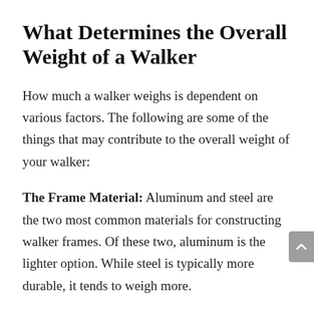What Determines the Overall Weight of a Walker
How much a walker weighs is dependent on various factors. The following are some of the things that may contribute to the overall weight of your walker:
The Frame Material: Aluminum and steel are the two most common materials for constructing walker frames. Of these two, aluminum is the lighter option. While steel is typically more durable, it tends to weigh more.
Frame: The...